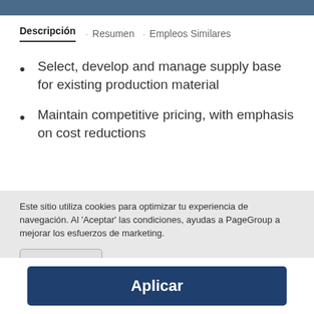Descripción · Resumen · Empleos Similares
Select, develop and manage supply base for existing production material
Maintain competitive pricing, with emphasis on cost reductions
Este sitio utiliza cookies para optimizar tu experiencia de navegación. Al 'Aceptar' las condiciones, ayudas a PageGroup a mejorar los esfuerzos de marketing.
Aceptar todas
Aplicar